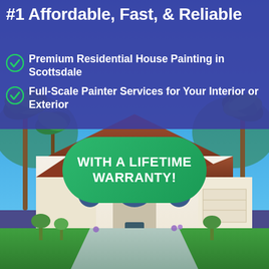[Figure (photo): Photo of a large white Mediterranean-style residential house with terracotta roof, palm trees, blue sky background, green lawn and driveway in Scottsdale area.]
#1 Affordable, Fast, & Reliable
Premium Residential House Painting in Scottsdale
Full-Scale Painter Services for Your Interior or Exterior
WITH A LIFETIME WARRANTY!